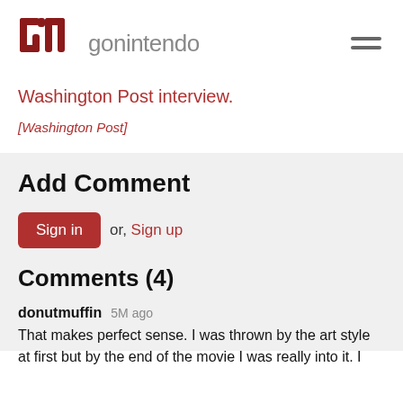[Figure (logo): GoNintendo logo with stylized GN icon in dark red and gray text reading 'gonintendo']
Washington Post interview.
[Washington Post]
Add Comment
Sign in or, Sign up
Comments (4)
donutmuffin 5M ago
That makes perfect sense. I was thrown by the art style at first but by the end of the movie I was really into it. I